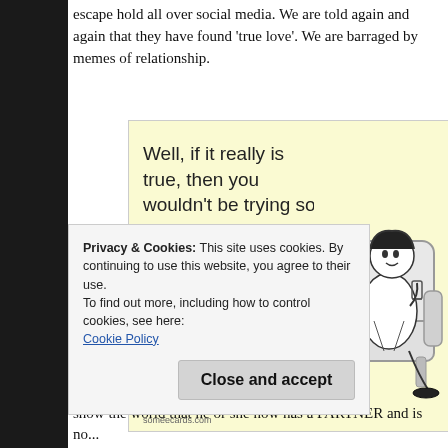escape hold all over social media. We are told again and again that they have found 'true love'. We are barraged by memes of relationship.
[Figure (illustration): A 'someecards / yourecards' style e-card with yellow background. Text reads: 'Well, if it really is true, then you wouldn't be trying so hard to prove it's true....the truth proves itself.' An illustration of a man lounging in an armchair holding a drink is on the right side. The yourE(logo)cards branding appears at the bottom left.]
Privacy & Cookies: This site uses cookies. By continuing to use this website, you agree to their use.
To find out more, including how to control cookies, see here: Cookie Policy
show the world that he or she now has a PARTNER and is no...